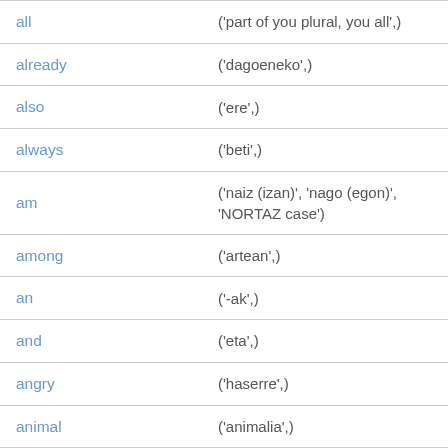| all | ('part of you plural, you all',) |
| already | ('dagoeneko',) |
| also | ('ere',) |
| always | ('beti',) |
| am | ('naiz (izan)', 'nago (egon)', 'NORTAZ case') |
| among | ('artean',) |
| an | ('-ak',) |
| and | ('eta',) |
| angry | ('haserre',) |
| animal | ('animalia',) |